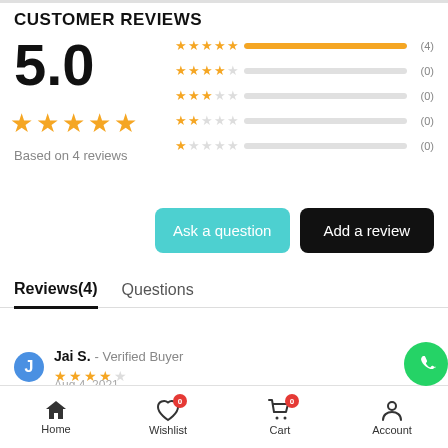CUSTOMER REVIEWS
5.0
Based on 4 reviews
[Figure (infographic): Star rating bars: 5-star (4), 4-star (0), 3-star (0), 2-star (0), 1-star (0)]
Ask a question
Add a review
Reviews(4)   Questions
Jai S.  -  Verified Buyer
Home   Wishlist 0   Cart 0   Account